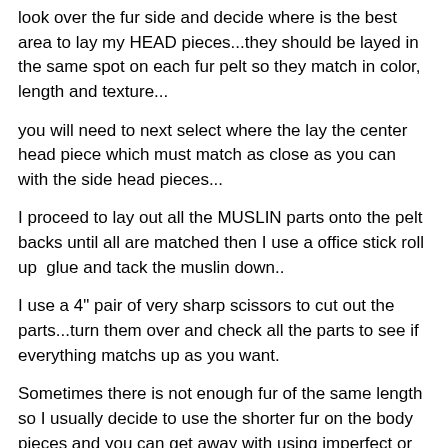look over the fur side and decide where is the best area to lay my HEAD pieces...they should be layed in the same spot on each fur pelt so they match in color, length and texture...
you will need to next select where the lay the center head piece which must match as close as you can with the side head pieces...
I proceed to lay out all the MUSLIN parts onto the pelt backs until all are matched then I use a office stick roll up  glue and tack the muslin down..
I use a 4" pair of very sharp scissors to cut out the parts...turn them over and check all the parts to see if everything matchs up as you want.
Sometimes there is not enough fur of the same length so I usually decide to use the shorter fur on the body pieces and you can get away with using imperfect or wacky fur for the under the arm piece.
If you got a garment that has sown pelts alternating